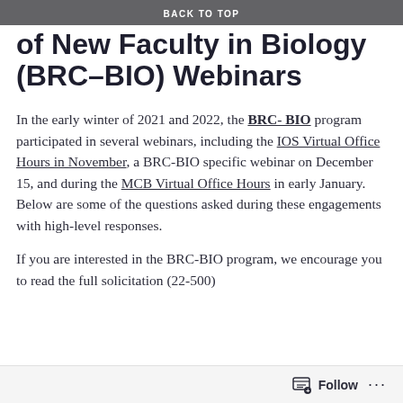BACK TO TOP
Research Capacity of New Faculty in Biology (BRC-BIO) Webinars
In the early winter of 2021 and 2022, the BRC- BIO program participated in several webinars, including the IOS Virtual Office Hours in November, a BRC-BIO specific webinar on December 15, and during the MCB Virtual Office Hours in early January. Below are some of the questions asked during these engagements with high-level responses.
If you are interested in the BRC-BIO program, we encourage you to read the full solicitation (22-500)